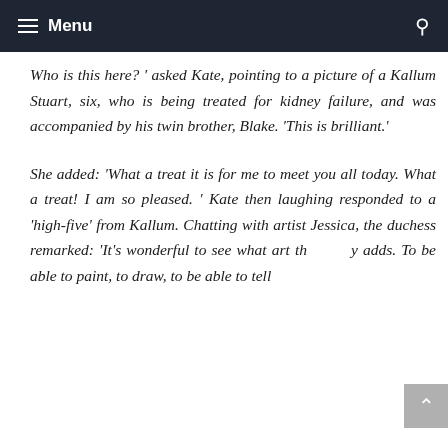Menu
Who is this here? ' asked Kate, pointing to a picture of a Kallum Stuart, six, who is being treated for kidney failure, and was accompanied by his twin brother, Blake. 'This is brilliant.'
She added: 'What a treat it is for me to meet you all today. What a treat! I am so pleased. ' Kate then laughing responded to a 'high-five' from Kallum. Chatting with artist Jessica, the duchess remarked: 'It's wonderful to see what art th y adds. To be able to paint, to draw, to be able to tell